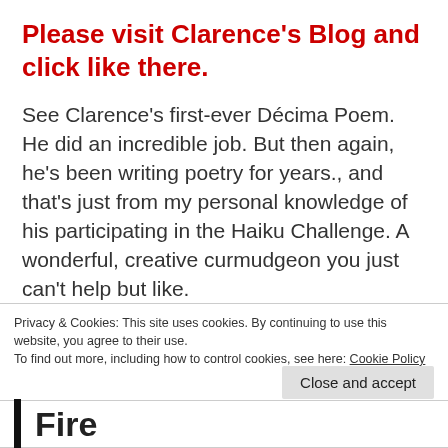Please visit Clarence's Blog and click like there.
See Clarence's first-ever Décima Poem. He did an incredible job. But then again, he's been writing poetry for years., and that's just from my personal knowledge of his participating in the Haiku Challenge. A wonderful, creative curmudgeon you just can't help but like.
Privacy & Cookies: This site uses cookies. By continuing to use this website, you agree to their use. To find out more, including how to control cookies, see here: Cookie Policy
Close and accept
Fire